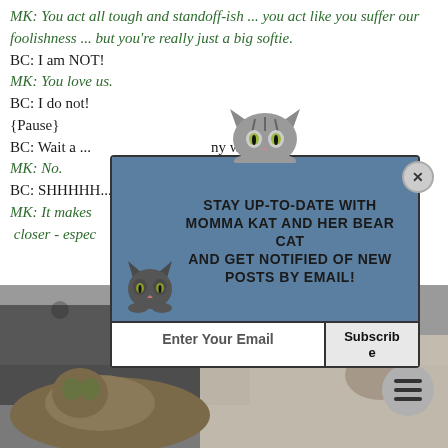MK: You act all tough and standoff-ish ... you act like you suffer our foolishness ... but you're really just a big softie.
BC: I am NOT!
MK: You love us.
BC: I do not!
{Pause}
BC: Wait a ... [my weight?]
MK: No.
BC: SHHHHH...
MK: It makes [sense ... getting closer - especially]
[Figure (photo): A cat lying on a bed with patterned blankets, another hand or paw visible, photo partially obscured by popup overlay]
[Figure (infographic): Email subscription popup with cat illustrations, teal/blue background, text: STAY UP-TO-DATE WITH MOMMA KAT AND HER BEAR CAT AND GET NOTIFIED OF NEW POSTS BY EMAIL!, with email input and Subscribe button, X close button, cat peeking from top and bottom-left corner]